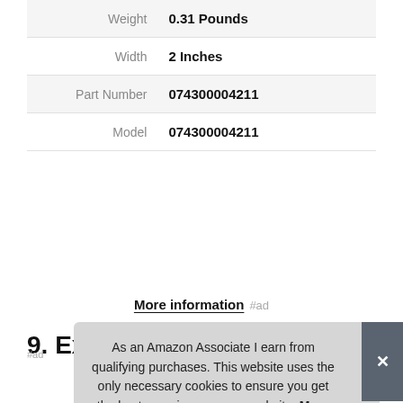|  |  |
| --- | --- |
| Weight | 0.31 Pounds |
| Width | 2 Inches |
| Part Number | 074300004211 |
| Model | 074300004211 |
More information #ad
9. Exterminators Choice
As an Amazon Associate I earn from qualifying purchases. This website uses the only necessary cookies to ensure you get the best experience on our website. More information